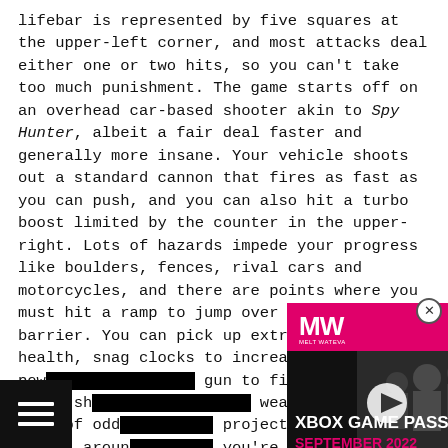lifebar is represented by five squares at the upper-left corner, and most attacks deal either one or two hits, so you can't take too much punishment. The game starts off on an overhead car-based shooter akin to Spy Hunter, albeit a fair deal faster and generally more insane. Your vehicle shoots out a standard cannon that fires as fast as you can push, and you can also hit a turbo boost limited by the counter in the upper-right. Lots of hazards impede your progress like boulders, fences, rival cars and motorcycles, and there are points where you must hit a ramp to jump over an oncoming barrier. You can pick up extra boosts or health, snag clocks to increase time, pow[er up your] gun to fire two then three sh[ots, and find] weapons in the form of odd [spinning] projectiles which spiral arou[nd you if] you're lucky. At the end is a b[oss that drives] and dumps barrels on you, and vanquishing this vehicle [unlock]es a bonus round where collecting a certain quota [of co]ns without hitting obstacles earns you an extra
[Figure (screenshot): Advertisement overlay for Xbox Game Pass September 2022 with MW logo on pink/magenta banner and soldiers in background with play button]